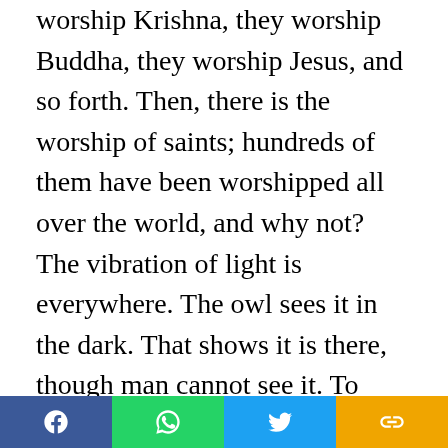worship Krishna, they worship Buddha, they worship Jesus, and so forth. Then, there is the worship of saints; hundreds of them have been worshipped all over the world, and why not? The vibration of light is everywhere. The owl sees it in the dark. That shows it is there, though man cannot see it. To man, that vibration is only visible in the lamp, in the sun, in the moon, etc. God is omnipresent, He is manifesting Himself in every being; but for men, He is only visible, recognisable, in man. When His light, His presence, His spirit, shines through the human face, then and then alone, can man understand Him. Thus, man has been worshipping God through men all the time, and must do so as long
Social share bar with Facebook, WhatsApp, Twitter, and link icons